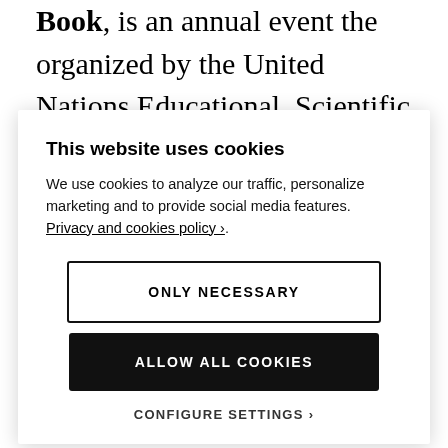Book, is an annual event the organized by the United Nations Educational, Scientific and Cultural Organization (UNESCO) with the aim of promoting reading, publishing, and
This website uses cookies
We use cookies to analyze our traffic, personalize marketing and to provide social media features. Privacy and cookies policy ›.
ONLY NECESSARY
ALLOW ALL COOKIES
CONFIGURE SETTINGS ›
books, celebration, copyright, international, read, readers, reading, World Book Day / 1 Comment